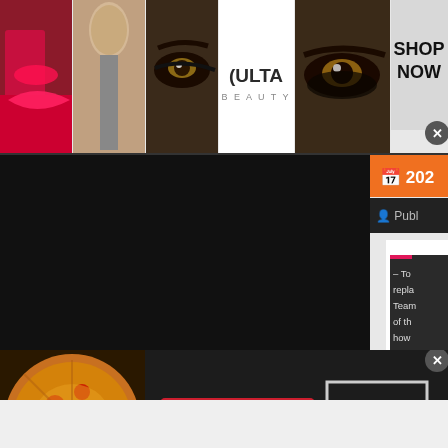[Figure (screenshot): Ulta Beauty banner advertisement showing makeup photos, Ulta logo, and 'SHOP NOW' button with close X]
[Figure (screenshot): Website content area with dark/black background, orange date bar showing '202', publisher label, and a side panel with text starting '- To... repla... Team... of th... how... Flair']
[Figure (screenshot): Seamless food delivery banner ad with pizza image, red Seamless logo badge, ORDER NOW button, and close X button]
[Figure (screenshot): Light gray/white area at bottom of page]